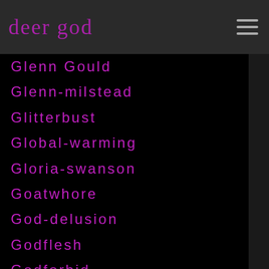deer god
Glenn Gould
Glenn-milstead
Glitterbust
Global-warming
Gloria-swanson
Goatwhore
God-delusion
Godflesh
Godforbid
Godhead
Godspeed-you-black-emperor
Gogolbordello
Gogos
Gojira
Goldfinger
Goldfrapp
Gone-is-gone